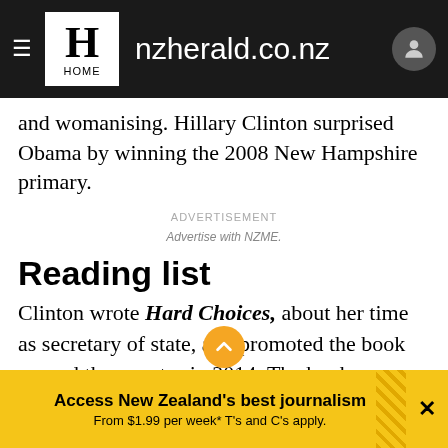nzherald.co.nz — HOME
and womanising. Hillary Clinton surprised Obama by winning the 2008 New Hampshire primary.
ADVERTISEMENT
Advertise with NZME.
Reading list
Clinton wrote Hard Choices, about her time as secretary of state, and promoted the book around the country in 2014. The book generated mediocre sales and Clinton stumbled at times during the book tour, saying in one interview that she and her husband were "dead broke" when they left the White House.
Access New Zealand's best journalism
From $1.99 per week* T's and C's apply.